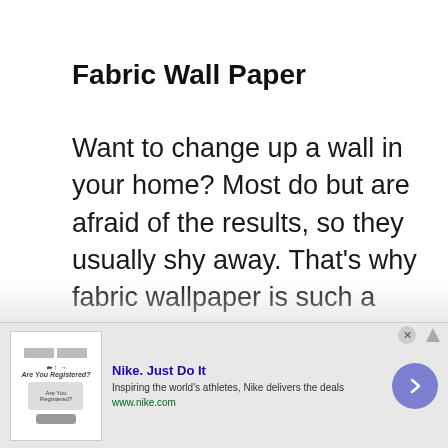Fabric Wall Paper
Want to change up a wall in your home? Most do but are afraid of the results, so they usually shy away. That’s why fabric wallpaper is such a good option. Instead of using the normal obnoxious
[Figure (other): Advertisement banner: Nike. Just Do It — Inspiring the world's athletes, Nike delivers the deals — www.nike.com. With close button and arrow navigation button.]